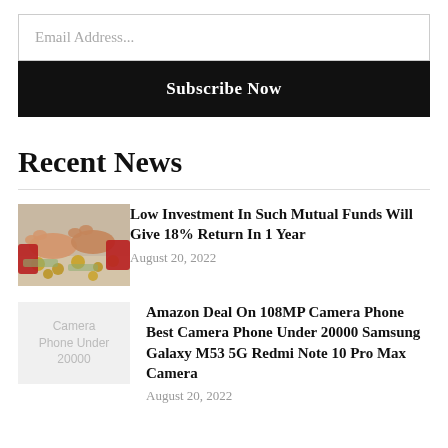Email Address...
Subscribe Now
Recent News
[Figure (photo): A person holding coins in their hands, with currency scattered on a surface below — illustrating mutual fund investment.]
Low Investment In Such Mutual Funds Will Give 18% Return In 1 Year
August 20, 2022
[Figure (other): Placeholder image with text: Camera Phone Under 20000]
Amazon Deal On 108MP Camera Phone Best Camera Phone Under 20000 Samsung Galaxy M53 5G Redmi Note 10 Pro Max Camera
August 20, 2022